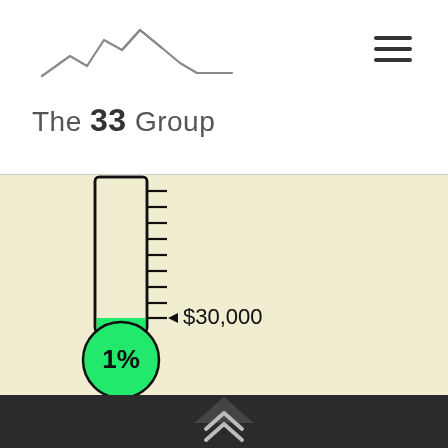[Figure (logo): The 33 Group logo with mountain silhouette SVG and company name text]
[Figure (infographic): Fundraising thermometer chart showing 1% progress toward $30,000 goal, with green bulb and fill, tick marks on vertical tube, arrow pointing to $30,000 label at bottom of tube]